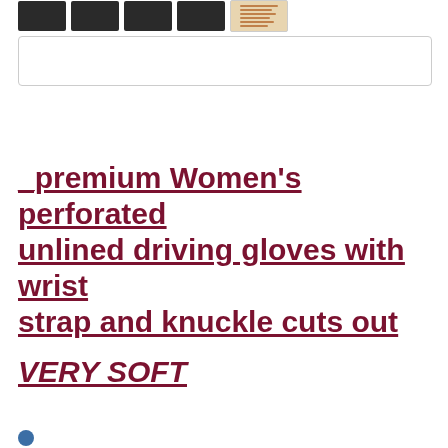[Figure (photo): Thumbnail images of black driving gloves and a size chart image]
[Figure (other): Search bar / input box]
_premium Women's perforated unlined driving gloves with wrist strap and knuckle cuts out
VERY SOFT